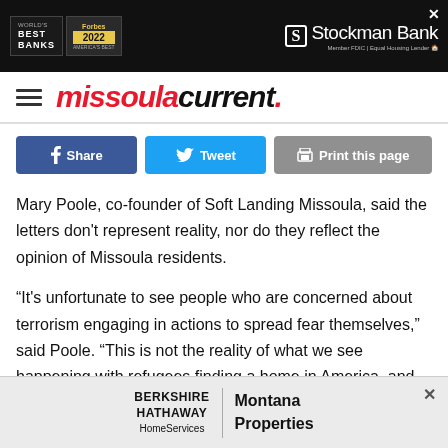[Figure (other): Stockman Bank advertisement - World's Best Banks Forbes 2022]
missoula current.
[Figure (other): Social sharing buttons: Share (Facebook), Tweet (Twitter), Print this page]
Mary Poole, co-founder of Soft Landing Missoula, said the letters don't represent reality, nor do they reflect the opinion of Missoula residents.
“It’s unfortunate to see people who are concerned about terrorism engaging in actions to spread fear themselves,” said Poole. “This is not the reality of what we see happening with refugees finding a home in America, and it’s not representative of the thousands of people that support
[Figure (other): Berkshire Hathaway HomeServices Montana Properties advertisement]